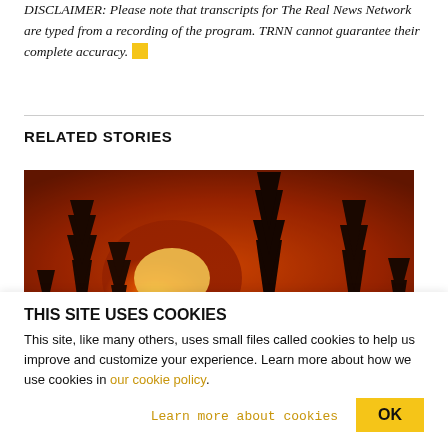DISCLAIMER: Please note that transcripts for The Real News Network are typed from a recording of the program. TRNN cannot guarantee their complete accuracy.
RELATED STORIES
[Figure (photo): Wildfire scene showing silhouetted dead trees against an intense orange-red sky with a bright yellow glow near the horizon, resembling a sun or fire glow through heavy smoke.]
THIS SITE USES COOKIES
This site, like many others, uses small files called cookies to help us improve and customize your experience. Learn more about how we use cookies in our cookie policy.
Learn more about cookies
OK